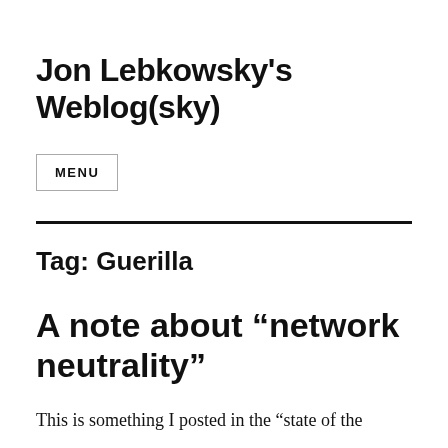Jon Lebkowsky's Weblog(sky)
MENU
Tag: Guerilla
A note about “network neutrality”
This is something I posted in the “state of the